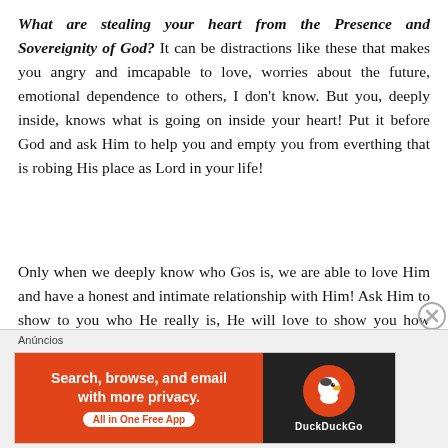What are stealing your heart from the Presence and Sovereignity of God? It can be distractions like these that makes you angry and imcapable to love, worries about the future, emotional dependence to others, I don't know. But you, deeply inside, knows what is going on inside your heart! Put it before God and ask Him to help you and empty you from everthing that is robing His place as Lord in your life!
Only when we deeply know who Gos is, we are able to love Him and have a honest and intimate relationship with Him! Ask Him to show to you who He really is, He will love to show you how much He loves and cares about you! This is the only way we are also able to love others and show this love in a way that the world will recognize us as disciples of Christ!
[Figure (screenshot): Advertisement banner for DuckDuckGo app: orange left panel with text 'Search, browse, and email with more privacy. All in One Free App' and dark right panel with DuckDuckGo logo and brand name.]